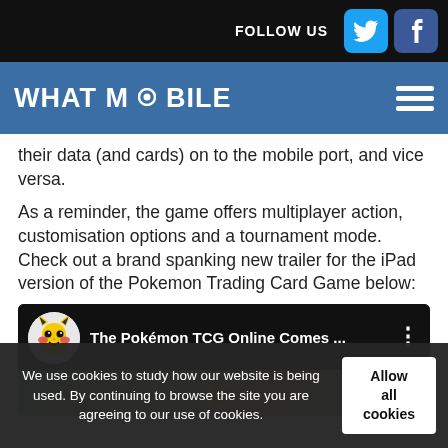FOLLOW US
WHAT MOBILE
their data (and cards) on to the mobile port, and vice versa.
As a reminder, the game offers multiplayer action, customisation options and a tournament mode. Check out a brand spanking new trailer for the iPad version of the Pokemon Trading Card Game below:
[Figure (screenshot): YouTube video thumbnail for The Pokémon TCG Online Comes... with Pikachu logo icon]
We use cookies to study how our website is being used. By continuing to browse the site you are agreeing to our use of cookies.